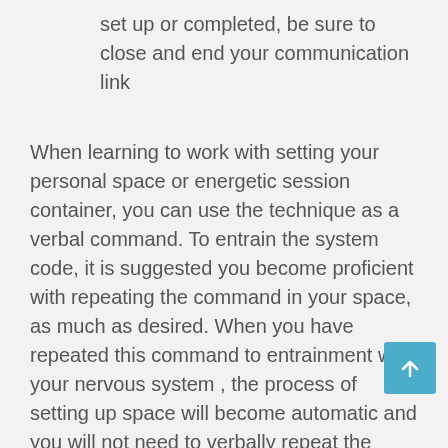set up or completed, be sure to close and end your communication link
When learning to work with setting your personal space or energetic session container, you can use the technique as a verbal command. To entrain the system code, it is suggested you become proficient with repeating the command in your space, as much as desired. When you have repeated this command to entrainment with your nervous system , the process of setting up space will become automatic and you will not need to verbally repeat the command every time. With repeated session work you are able to mentally focus energy amplifications in the environment as you feel guided to strengthen certain areas, i.e. the portal, or other